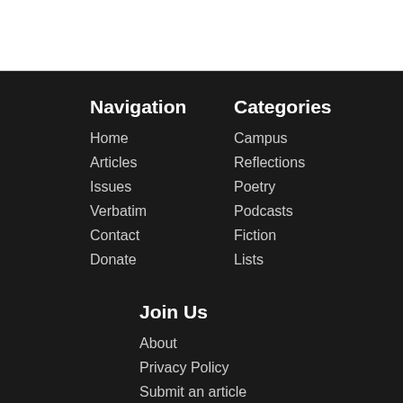Navigation
Home
Articles
Issues
Verbatim
Contact
Donate
Categories
Campus
Reflections
Poetry
Podcasts
Fiction
Lists
Join Us
About
Privacy Policy
Submit an article
Submit a verbatim